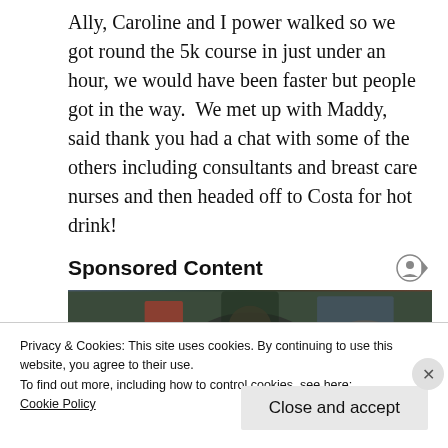Ally, Caroline and I power walked so we got round the 5k course in just under an hour, we would have been faster but people got in the way.  We met up with Maddy, said thank you had a chat with some of the others including consultants and breast care nurses and then headed off to Costa for hot drink!
Sponsored Content
[Figure (photo): A photo strip showing people in dark clothing, partially obscured by the cookie notice overlay]
Privacy & Cookies: This site uses cookies. By continuing to use this website, you agree to their use.
To find out more, including how to control cookies, see here:
Cookie Policy
Close and accept